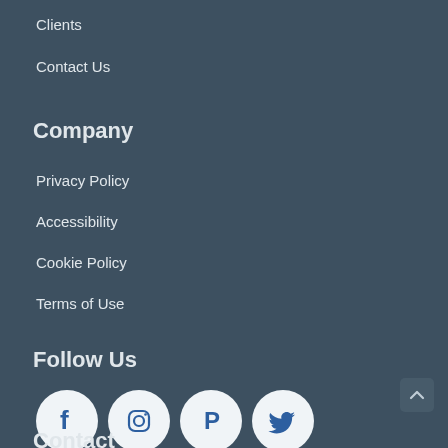Clients
Contact Us
Company
Privacy Policy
Accessibility
Cookie Policy
Terms of Use
Follow Us
[Figure (illustration): Social media icons: Facebook, Instagram, Pinterest, Twitter in white circles on dark background]
Contact (partially visible at bottom)